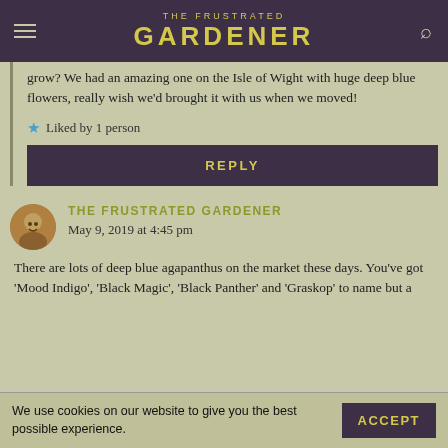THE FRUSTRATED GARDENER
grow? We had an amazing one on the Isle of Wight with huge deep blue flowers, really wish we'd brought it with us when we moved!
Liked by 1 person
REPLY
THE FRUSTRATED GARDENER
May 9, 2019 at 4:45 pm
There are lots of deep blue agapanthus on the market these days. You've got 'Mood Indigo', 'Black Magic', 'Black Panther' and 'Graskop' to name but a
We use cookies on our website to give you the best possible experience.